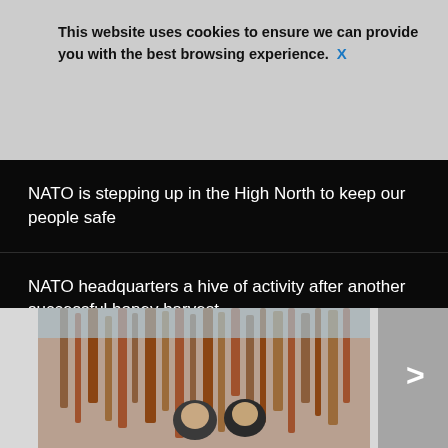This website uses cookies to ensure we can provide you with the best browsing experience. X
Stoltenberg at a conference - NATO is not responsible for Ukraine at Cri...
NATO is stepping up in the High North to keep our people safe
NATO headquarters a hive of activity after another successful honey harvest
ALL NEWS >>
[Figure (photo): Two men smiling in front of abstract vertical copper/bronze pipe sculpture outdoors, with a navigation arrow (>) on the right side]